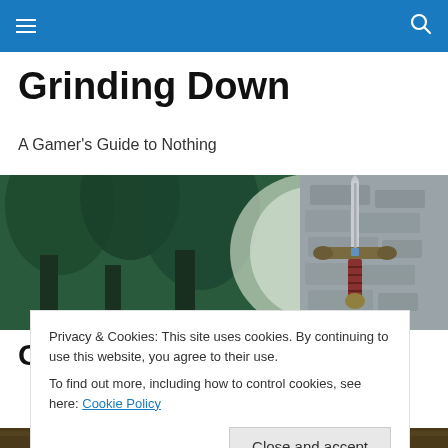Navigation bar with hamburger menu and search icon
Grinding Down
A Gamer's Guide to Nothing
[Figure (illustration): Fantasy illustration showing dark forest trees on the left in teal/green tones and a sword (Master Sword style) embedded in a stone on the right, against a light grey background]
Gift cards and Microsoft
Privacy & Cookies: This site uses cookies. By continuing to use this website, you agree to their use.
To find out more, including how to control cookies, see here: Cookie Policy
Close and accept
[Figure (photo): Bottom strip showing a photo, partially visible, appears to be an indoor scene with dark/brown tones]